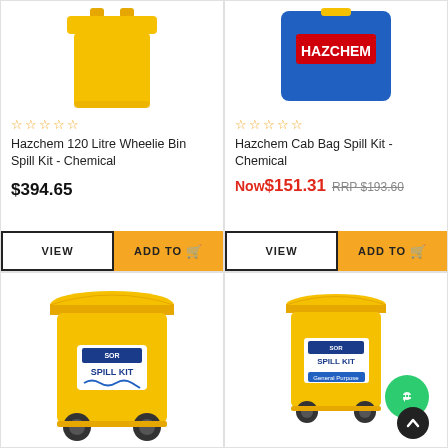[Figure (photo): Yellow wheelie bin spill kit product image, top portion cropped]
[Figure (photo): Blue Hazchem cab bag spill kit product image, top portion cropped]
☆☆☆☆☆
☆☆☆☆☆
Hazchem 120 Litre Wheelie Bin Spill Kit - Chemical
Hazchem Cab Bag Spill Kit - Chemical
$394.65
Now $151.31 RRP $193.60
[Figure (photo): Large yellow wheelie bin with SOR Spill Kit label]
[Figure (photo): Smaller yellow wheelie bin with SOR Spill Kit label and General Purpose text, with green chat bubble and dark scroll-to-top button]